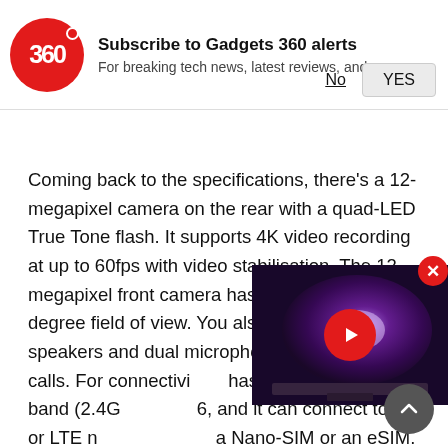[Figure (logo): Gadgets 360 logo — red circle with '360' text and red dot]
Subscribe to Gadgets 360 alerts
For breaking tech news, latest reviews, and more
No
YES
Coming back to the specifications, there's a 12-megapixel camera on the rear with a quad-LED True Tone flash. It supports 4K video recording at up to 60fps with video stabilisation. The 12-megapixel front camera has an ultra-wide 122-degree field of view. You also get stereo speakers and dual microphones and other VoIP calls. For connectivity, has simultaneous dual-band (2.4GHz 6, and it can connect to 5G or LTE networks, a Nano-SIM or an eSIM.
[Figure (screenshot): Video thumbnail showing a TV with a purple galaxy wallpaper, with a red play button overlay]
The iPad mini came running iPadOS 15 out of the box,